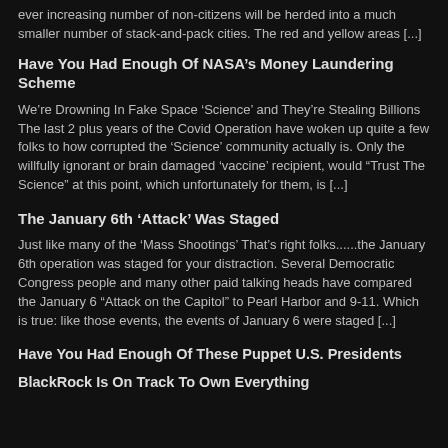ever increasing number of non-citizens will be herded into a much smaller number of stack-and-pack cities. The red and yellow areas [...]
Have You Had Enough Of NASA’s Money Laundering Scheme
We’re Drowning In Fake Space ‘Science’ and They’re Stealing Billions The last 2 plus years of the Covid Operation have woken up quite a few folks to how corrupted the ‘Science’ community actually is. Only the willfully ignorant or brain damaged ‘vaccine’ recipient, would “Trust The Science” at this point, which unfortunately for them, is [...]
The January 6th ‘Attack’ Was Staged
Just like many of the ‘Mass Shootings’ That’s right folks......the January 6th operation was staged for your distraction. Several Democratic Congress people and many other paid talking heads have compared the January 6 “Attack on the Capitol” to Pearl Harbor and 9-11. Which is true: like those events, the events of January 6 were staged [...]
Have You Had Enough Of These Puppet U.S. Presidents
BlackRock Is On Track To Own Everything